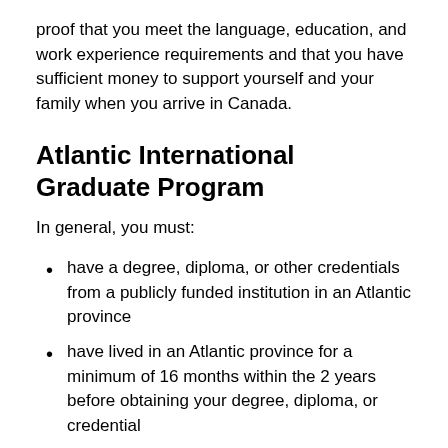proof that you meet the language, education, and work experience requirements and that you have sufficient money to support yourself and your family when you arrive in Canada.
Atlantic International Graduate Program
In general, you must:
have a degree, diploma, or other credentials from a publicly funded institution in an Atlantic province
have lived in an Atlantic province for a minimum of 16 months within the 2 years before obtaining your degree, diploma, or credential
take a language test to prove and show you